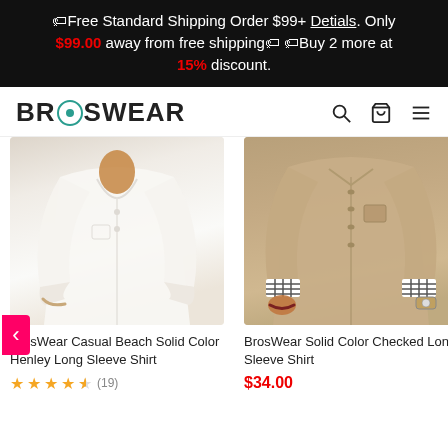🏷Free Standard Shipping Order $99+ Detials. Only $99.00 away from free shipping🏷 🏷Buy 2 more at 15% discount.
[Figure (logo): BrosWear logo with teal circle icon, search icon, cart icon, and hamburger menu]
[Figure (photo): Man wearing a white casual beach solid color Henley long sleeve shirt with rolled sleeves]
[Figure (photo): Man wearing a tan/khaki solid color checked long sleeve shirt with plaid cuffs]
BrosWear Casual Beach Solid Color Henley Long Sleeve Shirt
★★★★☆ (19)
BrosWear Solid Color Checked Long Sleeve Shirt
$34.00